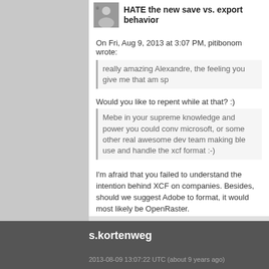HATE the new save vs. export behavior
On Fri, Aug 9, 2013 at 3:07 PM, pitibonom wrote:
really amazing Alexandre, the feeling you give me that am sp
Would you like to repent while at that? :)
Mebe in your supreme knowledge and power you could conv microsoft, or some other real awesome dev team making ble use and handle the xcf format :-)
I'm afraid that you failed to understand the intention behind XCF on companies. Besides, should we suggest Adobe to format, it would most likely be OpenRaster.
Also, may I draw your attention to the fact that Krita and Bl extension in case of Blender)?
Alexandre Prokoudine http://libregraphicsworld.org
s.kortenweg
2013-08-09 13:07:22 UTC (about 9 years ago)